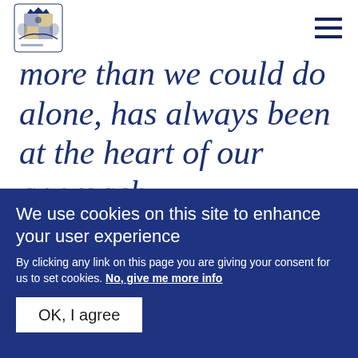[UK Government Royal Coat of Arms logo] [Hamburger menu icon]
more than we could do alone, has always been at the heart of our approach.
The Queen's Commonwealth Day
We use cookies on this site to enhance your user experience
By clicking any link on this page you are giving your consent for us to set cookies. No, give me more info
OK, I agree